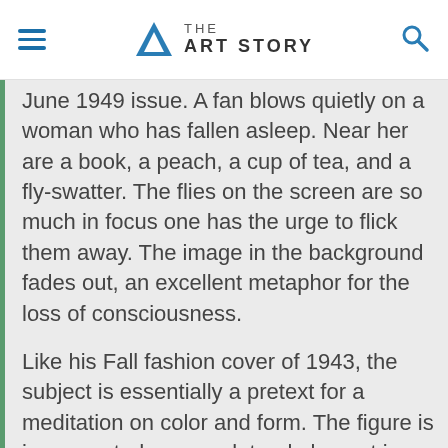THE ART STORY
June 1949 issue. A fan blows quietly on a woman who has fallen asleep. Near her are a book, a peach, a cup of tea, and a fly-swatter. The flies on the screen are so much in focus one has the urge to flick them away. The image in the background fades out, an excellent metaphor for the loss of consciousness.
Like his Fall fashion cover of 1943, the subject is essentially a pretext for a meditation on color and form. The figure is incorporated as a sculptural element in a still life. The bent arm and head form a graceful triangle, and are surrounded by other pleasing shapes. While specialized knowledge of art history is unnecessary to appreciate this image, Penn's awareness of it is evident in the screen over the surface, a sly nod to the modernist grid, and the dozing woman - an homage to Vermeer and other